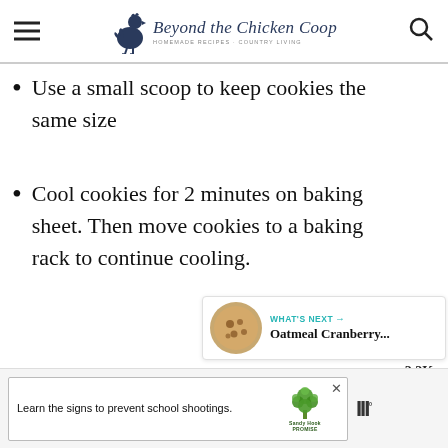Beyond the Chicken Coop — HOMEMADE RECIPES · COUNTRY LIVING
Use a small scoop to keep cookies the same size
Cool cookies for 2 minutes on baking sheet. Then move cookies to a baking rack to continue cooling.
[Figure (other): Social share button with heart icon showing 2.2K saves, and a share button below]
[Figure (other): What's Next widget showing Oatmeal Cranberry... with cookie image thumbnail]
[Figure (other): Advertisement banner: Learn the signs to prevent school shootings. Sandy Hook Promise logo. Moat analytics logo.]